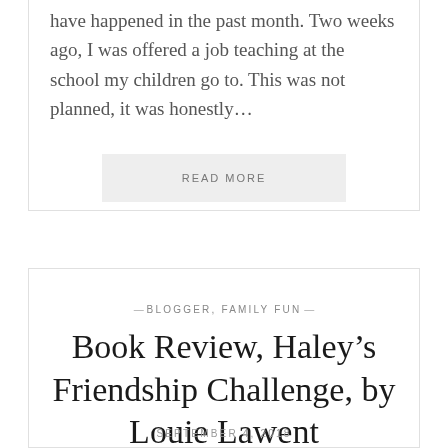have happened in the past month.  Two weeks ago, I was offered a job teaching at the school my children go to.  This was not planned, it was honestly…
READ MORE
— BLOGGER, FAMILY FUN —
Book Review, Haley's Friendship Challenge, by Louie Lawent
SEPTEMBER 4, 2018